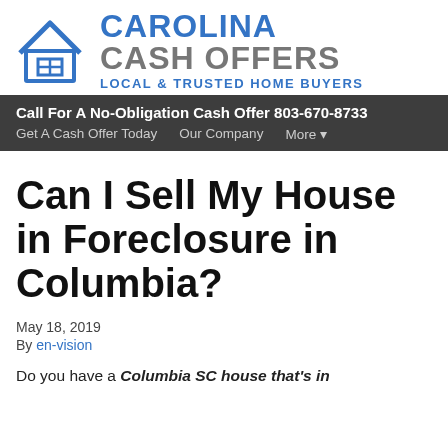[Figure (logo): Carolina Cash Offers logo with blue house icon and company name. Tagline: LOCAL & TRUSTED HOME BUYERS]
Call For A No-Obligation Cash Offer 803-670-8733 | Get A Cash Offer Today  Our Company  More
Can I Sell My House in Foreclosure in Columbia?
May 18, 2019
By en-vision
Do you have a Columbia SC house that's in